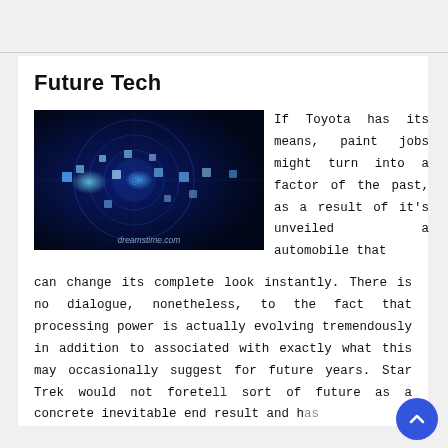Future Tech
[Figure (photo): Dark blue futuristic technology background with glowing squares and circuits, dreamstime.com watermark]
If Toyota has its means, paint jobs might turn into a factor of the past, as a result of it's unveiled a automobile that can change its complete look instantly. There is no dialogue, nonetheless, to the fact that processing power is actually evolving tremendously in addition to associated with exactly what this may occasionally suggest for future years. Star Trek would not foretell sort of future as a concrete inevitable end result and has